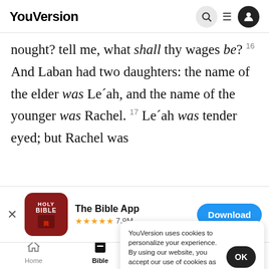YouVersion
nought? tell me, what shall thy wages be? 16 And Laban had two daughters: the name of the elder was Le´ah, and the name of the younger was Rachel. 17 Le´ah was tender eyed; but Rachel was
[Figure (screenshot): App download banner for The Bible App with 5 stars and 7.9M ratings and a Download button]
Rachel... 19 ...
is better...
give her to another man: abide with me And
YouVersion uses cookies to personalize your experience. By using our website, you accept our use of cookies as described in our Privacy Policy.
Home  Bible  Plans  Videos